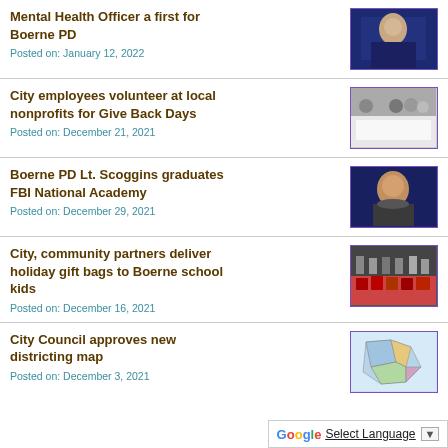Mental Health Officer a first for Boerne PD
Posted on: January 12, 2022
[Figure (photo): Person speaking at podium]
City employees volunteer at local nonprofits for Give Back Days
Posted on: December 21, 2021
[Figure (photo): Group of people standing in front of sign]
Boerne PD Lt. Scoggins graduates FBI National Academy
Posted on: December 29, 2021
[Figure (photo): Man in suit with dark background]
City, community partners deliver holiday gift bags to Boerne school kids
Posted on: December 16, 2021
[Figure (photo): Group of people with gift bags on table]
City Council approves new districting map
Posted on: December 3, 2021
[Figure (map): Districting map showing colored district boundaries]